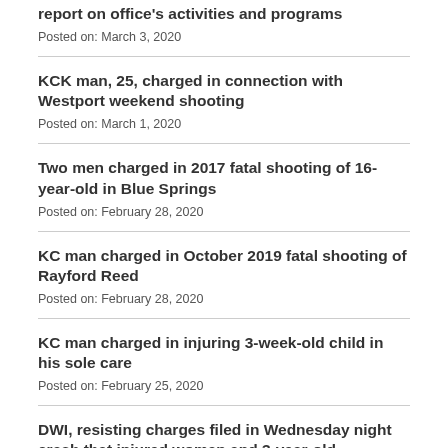report on office's activities and programs
Posted on: March 3, 2020
KCK man, 25, charged in connection with Westport weekend shooting
Posted on: March 1, 2020
Two men charged in 2017 fatal shooting of 16-year-old in Blue Springs
Posted on: February 28, 2020
KC man charged in October 2019 fatal shooting of Rayford Reed
Posted on: February 28, 2020
KC man charged in injuring 3-week-old child in his sole care
Posted on: February 25, 2020
DWI, resisting charges filed in Wednesday night crash that injured woman and 3-year-old